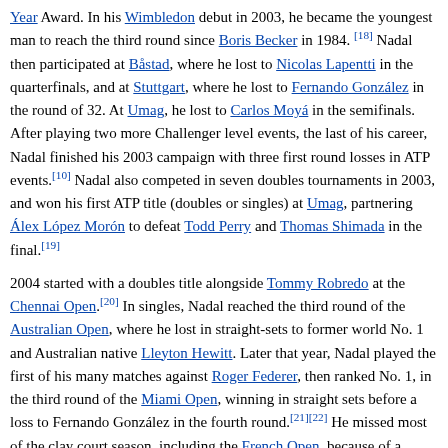Year Award. In his Wimbledon debut in 2003, he became the youngest man to reach the third round since Boris Becker in 1984. [18] Nadal then participated at Båstad, where he lost to Nicolas Lapentti in the quarterfinals, and at Stuttgart, where he lost to Fernando González in the round of 32. At Umag, he lost to Carlos Moyá in the semifinals. After playing two more Challenger level events, the last of his career, Nadal finished his 2003 campaign with three first round losses in ATP events.[10] Nadal also competed in seven doubles tournaments in 2003, and won his first ATP title (doubles or singles) at Umag, partnering Álex López Morón to defeat Todd Perry and Thomas Shimada in the final.[19]
2004 started with a doubles title alongside Tommy Robredo at the Chennai Open.[20] In singles, Nadal reached the third round of the Australian Open, where he lost in straight-sets to former world No. 1 and Australian native Lleyton Hewitt. Later that year, Nadal played the first of his many matches against Roger Federer, then ranked No. 1, in the third round of the Miami Open, winning in straight sets before a loss to Fernando González in the fourth round.[21][22] He missed most of the clay court season, including the French Open, because of a stress fracture in his left ankle.[5] In August, Nadal won his first ATP singles title at the Prokom Open by defeating José Acasuso in the final.[23]